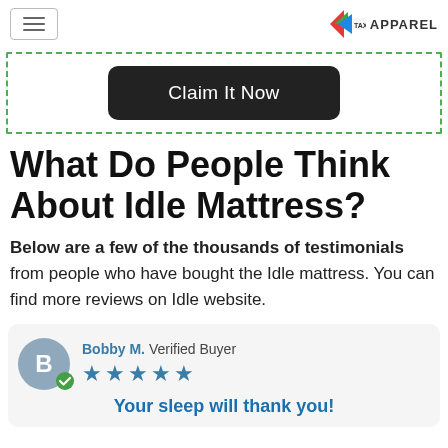[Figure (logo): Hamburger menu icon (three horizontal lines) and Taxi Apparel logo in top header]
[Figure (other): Dark rounded rectangle button with text 'Claim It Now' inside a green dashed border box]
What Do People Think About Idle Mattress?
Below are a few of the thousands of testimonials from people who have bought the Idle mattress. You can find more reviews on Idle website.
[Figure (other): Review card showing Bobby M. Verified Buyer with 5-star rating and headline 'Your sleep will thank you!']